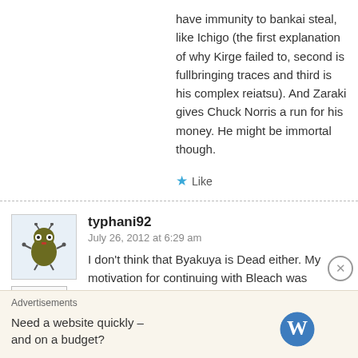have immunity to bankai steal, like Ichigo (the first explanation of why Kirge failed to, second is fullbringing traces and third is his complex reiatsu). And Zaraki gives Chuck Norris a run for his money. He might be immortal though.
★ Like
typhani92
July 26, 2012 at 6:29 am
I don't think that Byakuya is Dead either. My motivation for continuing with Bleach was because Byakuya as well so I will completely
← Reply
Advertisements
Need a website quickly – and on a budget?